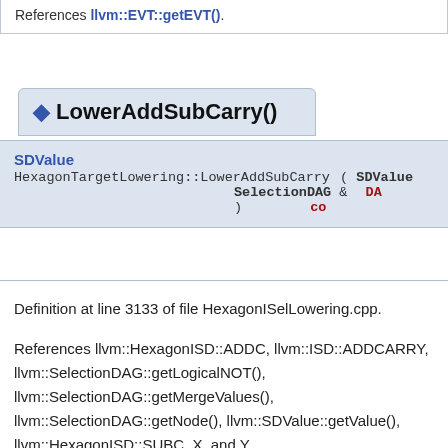References llvm::EVT::getEVT().
◆ LowerAddSubCarry()
SDValue
HexagonTargetLowering::LowerAddSubCarry ( SDValue  Op, SelectionDAG &  DAG, ) const
Definition at line 3133 of file HexagonISelLowering.cpp.
References llvm::HexagonISD::ADDC, llvm::ISD::ADDCARRY, llvm::SelectionDAG::getLogicalNOT(), llvm::SelectionDAG::getMergeValues(), llvm::SelectionDAG::getNode(), llvm::SDValue::getValue(), llvm::HexagonISD::SUBC, X, and Y.
Referenced by LowerOperation().